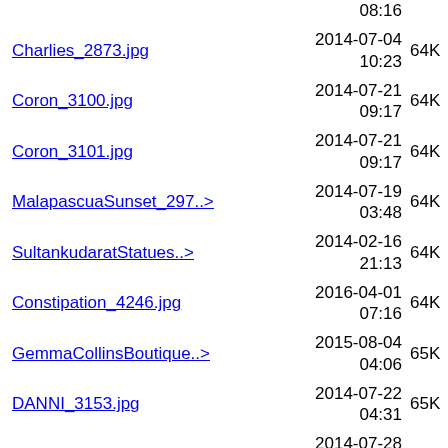[partial] 08:16
Charlies_2873.jpg  2014-07-04 10:23  64K
Coron_3100.jpg  2014-07-21 09:17  64K
Coron_3101.jpg  2014-07-21 09:17  64K
MalapascuaSunset_297..>  2014-07-19 03:48  64K
SultankudaratStatues..>  2014-02-16 21:13  64K
Constipation_4246.jpg  2016-04-01 07:16  64K
GemmaCollinsBoutique..>  2015-08-04 04:06  65K
DANNI_3153.jpg  2014-07-22 04:31  65K
NannyPat._3173.jpg  2014-07-28 11:24  65K
BantyanIslandPlacidB..>  2013-04-30 03:49  65K
Lockies_Kitchen_4157..>  2016-03-16 08:39  65K